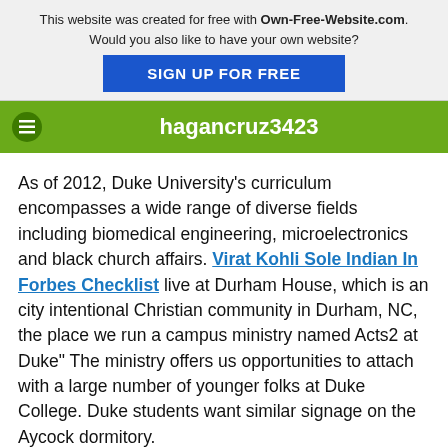This website was created for free with Own-Free-Website.com. Would you also like to have your own website? SIGN UP FOR FREE
hagancruz3423
As of 2012, Duke University's curriculum encompasses a wide range of diverse fields including biomedical engineering, microelectronics and black church affairs. Virat Kohli Sole Indian In Forbes Checklist live at Durham House, which is an city intentional Christian community in Durham, NC, the place we run a campus ministry named Acts2 at Duke" The ministry offers us opportunities to attach with a large number of younger folks at Duke College. Duke students want similar signage on the Aycock dormitory.
Just Kendrick Perkins Calls Kevin Durant 'Coward' For Signing With Warriors, KD Claps Back , the Pennsylvania-based mostly chocolate firm based the Pennsylvania State Milton S. Hershey Medical Center, one of many university's most effectively-known packages